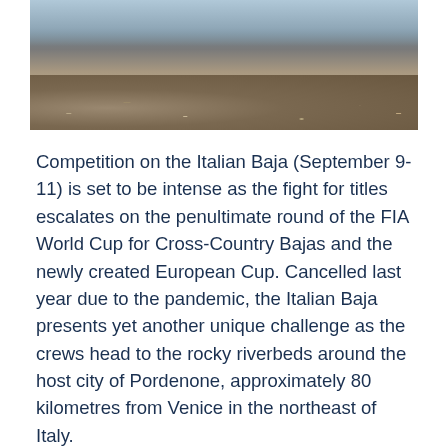[Figure (photo): Close-up photo of rocky riverbed/gravel terrain with water and mist/spray visible in the upper portion, likely a rally cross-country race scene.]
Competition on the Italian Baja (September 9-11) is set to be intense as the fight for titles escalates on the penultimate round of the FIA World Cup for Cross-Country Bajas and the newly created European Cup. Cancelled last year due to the pandemic, the Italian Baja presents yet another unique challenge as the crews head to the rocky riverbeds around the host city of Pordenone, approximately 80 kilometres from Venice in the northeast of Italy.
Once again, the main contenders across all categories will go head to head over the two-day event, with FIA World Cup front-runners Yasir Seaidan and Alexey